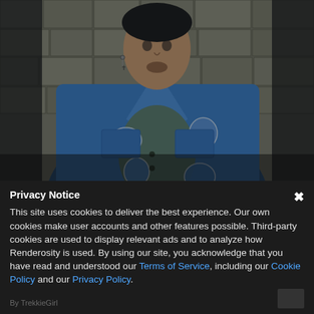[Figure (photo): A man wearing a distressed blue denim jacket with graphic patches, standing in front of a stone wall background. He has a cross earring and a goatee. The photo is dark and moody in style.]
Privacy Notice
This site uses cookies to deliver the best experience. Our own cookies make user accounts and other features possible. Third-party cookies are used to display relevant ads and to analyze how Renderosity is used. By using our site, you acknowledge that you have read and understood our Terms of Service, including our Cookie Policy and our Privacy Policy.